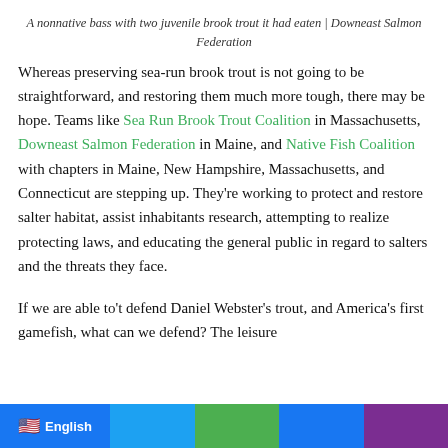A nonnative bass with two juvenile brook trout it had eaten | Downeast Salmon Federation
Whereas preserving sea-run brook trout is not going to be straightforward, and restoring them much more tough, there may be hope. Teams like Sea Run Brook Trout Coalition in Massachusetts, Downeast Salmon Federation in Maine, and Native Fish Coalition with chapters in Maine, New Hampshire, Massachusetts, and Connecticut are stepping up. They're working to protect and restore salter habitat, assist inhabitants research, attempting to realize protecting laws, and educating the general public in regard to salters and the threats they face.
If we are able to't defend Daniel Webster's trout, and America's first gamefish, what can we defend? The leisure...
[Figure (other): Social sharing bar at the bottom with language selector showing English with US flag, and colored sharing buttons in blue, cyan, green, blue, and purple]